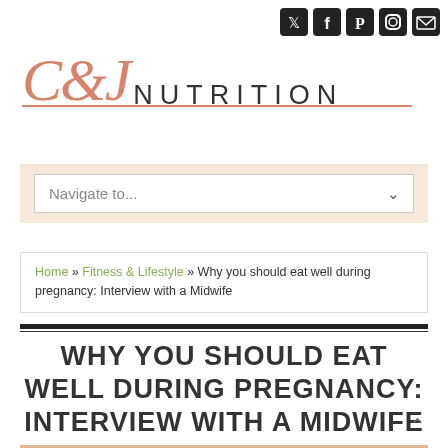[Figure (logo): C&J Nutrition logo with social media icons (Twitter, Facebook, Pinterest, Instagram, Email)]
C&J NUTRITION
Navigate to...
Home » Fitness & Lifestyle » Why you should eat well during pregnancy: Interview with a Midwife
WHY YOU SHOULD EAT WELL DURING PREGNANCY: INTERVIEW WITH A MIDWIFE